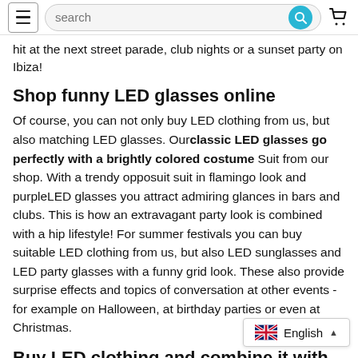search
hit at the next street parade, club nights or a sunset party on Ibiza!
Shop funny LED glasses online
Of course, you can not only buy LED clothing from us, but also matching LED glasses. Our classic LED glasses go perfectly with a brightly colored costume Suit from our shop. With a trendy opposuit suit in flamingo look and purpleLED glasses you attract admiring glances in bars and clubs. This is how an extravagant party look is combined with a hip lifestyle! For summer festivals you can buy suitable LED clothing from us, but also LED sunglasses and LED party glasses with a funny grid look. These also provide surprise effects and topics of conversation at other events - for example on Halloween, at birthday parties or even at Christmas.
Buy LED clothing and combine it with flashing accessories
If you want to really sparkle and shine on the ne enough to just buy our LED clothing. In order to attention and spread the party atmosphere, you use our LED